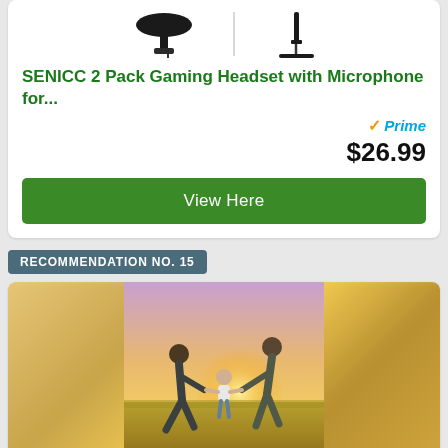[Figure (photo): Product images of gaming headsets shown at top of card]
SENICC 2 Pack Gaming Headset with Microphone for...
Prime
$26.99
View Here
RECOMMENDATION NO. 15
[Figure (photo): Family photo showing two adults swinging a child between them in a golden field at sunset]
30 VIBES TO FOCUS